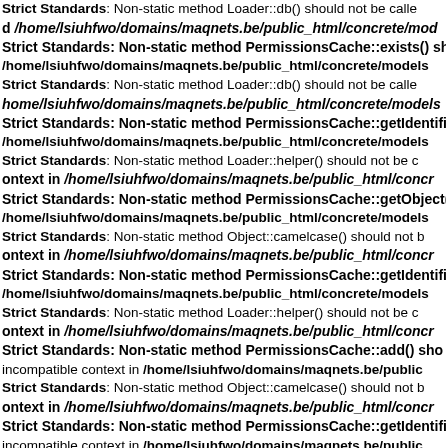Strict Standards: Non-static method Loader::db() should not be called in /home/lsiuhfwo/domains/maqnets.be/public_html/concrete/mod
Strict Standards: Non-static method PermissionsCache::exists() should not be called in /home/lsiuhfwo/domains/maqnets.be/public_html/concrete/models
Strict Standards: Non-static method Loader::db() should not be called in /home/lsiuhfwo/domains/maqnets.be/public_html/concrete/models
Strict Standards: Non-static method PermissionsCache::getIdentifier() should not be called in /home/lsiuhfwo/domains/maqnets.be/public_html/concrete/models
Strict Standards: Non-static method Loader::helper() should not be called context in /home/lsiuhfwo/domains/maqnets.be/public_html/concr
Strict Standards: Non-static method PermissionsCache::getObject() should not be called in /home/lsiuhfwo/domains/maqnets.be/public_html/concrete/models
Strict Standards: Non-static method Object::camelcase() should not be called context in /home/lsiuhfwo/domains/maqnets.be/public_html/concr
Strict Standards: Non-static method PermissionsCache::getIdentifier() should not be called in /home/lsiuhfwo/domains/maqnets.be/public_html/concrete/models
Strict Standards: Non-static method Loader::helper() should not be called context in /home/lsiuhfwo/domains/maqnets.be/public_html/concr
Strict Standards: Non-static method PermissionsCache::add() should not be called incompatible context in /home/lsiuhfwo/domains/maqnets.be/public
Strict Standards: Non-static method Object::camelcase() should not be called context in /home/lsiuhfwo/domains/maqnets.be/public_html/concr
Strict Standards: Non-static method PermissionsCache::getIdentifier() should not be called incompatible context in /home/lsiuhfwo/domains/maqnets.be/public
Strict Standards: Non-static method Loader::db() should not be called in /home/lsiuhfwo/domains/maqnets.be/public_html/concrete/mod
Strict Standards: Non-static method PermissionsCache::exists() should not be called incompatible context in /home/lsiuhfwo/domains/maqnets.be/public
Strict Standards: Non-static method Cache::get() should not be called in home/lsiuhfwo/domains/maqnets.be/public_html/concrete/models
Strict Standards: Non-static method PermissionsCache::getIdentifier() should not be called incompatible context in /home/lsiuhfwo/domains/maqnets.be/public
Strict Standards: Non-static method Cache::key() should not be called in home/lsiuhfwo/domains/maqnets.be/public_html/concrete/models